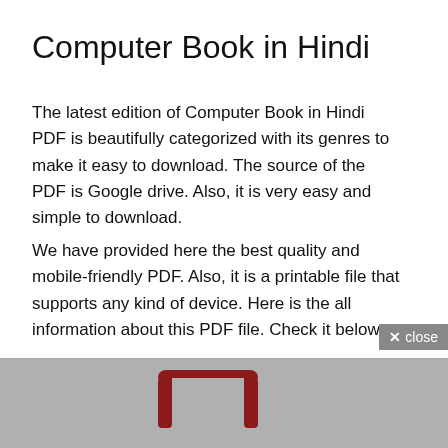Computer Book in Hindi
The latest edition of Computer Book in Hindi PDF is beautifully categorized with its genres to make it easy to download. The source of the PDF is Google drive. Also, it is very easy and simple to download.
We have provided here the best quality and mobile-friendly PDF. Also, it is a printable file that supports any kind of device. Here is the all information about this PDF file. Check it below.
[Figure (other): Gray background section with a partial red and gray PDF file icon visible at the bottom of the page. Also shows a gray 'close' button with an X in the top-right corner of the gray area.]